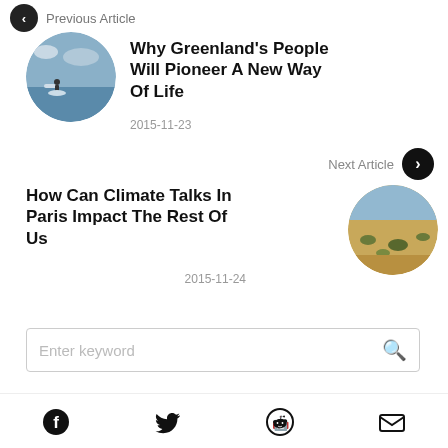[Figure (screenshot): Navigation button with left arrow for Previous Article, partially cropped at top]
Why Greenland's People Will Pioneer A New Way Of Life
2015-11-23
[Figure (photo): Circular thumbnail of a person standing on an iceberg in a cloudy arctic seascape]
Next Article
How Can Climate Talks In Paris Impact The Rest Of Us
2015-11-24
[Figure (photo): Circular thumbnail of a desert landscape with sparse vegetation]
Enter keyword
[Figure (infographic): Footer social media icons: Facebook, Twitter, Reddit, Email]